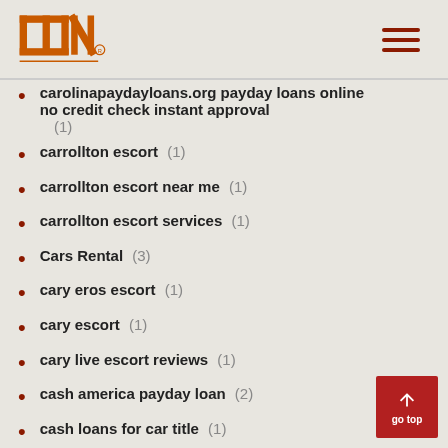INP logo and navigation
carolinapaydayloans.org payday loans online no credit check instant approval (1)
carrollton escort (1)
carrollton escort near me (1)
carrollton escort services (1)
Cars Rental (3)
cary eros escort (1)
cary escort (1)
cary live escort reviews (1)
cash america payday loan (2)
cash loans for car title (1)